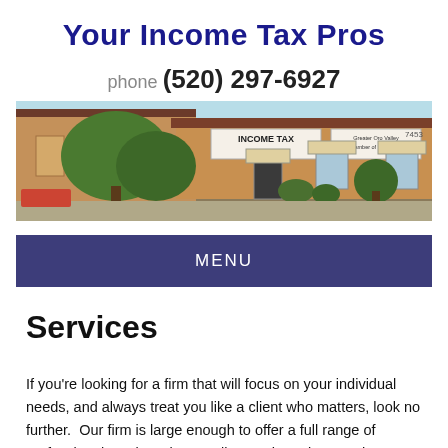Your Income Tax Pros
phone (520) 297-6927
[Figure (photo): Exterior photo of Your Income Tax Pros building — a southwestern-style tan stucco commercial building with signs reading 'INCOME TAX' and 'Greater Oro Valley Chamber of Commerce', green trees in foreground, blue sky background.]
MENU
Services
If you're looking for a firm that will focus on your individual needs, and always treat you like a client who matters, look no further.  Our firm is large enough to offer a full range of professional services, but small enough to give you the